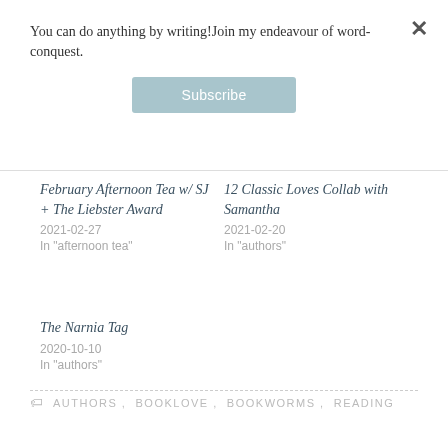You can do anything by writing!Join my endeavour of word-conquest.
Subscribe
February Afternoon Tea w/ SJ + The Liebster Award
2021-02-27
In "afternoon tea"
12 Classic Loves Collab with Samantha
2021-02-20
In "authors"
The Narnia Tag
2020-10-10
In "authors"
AUTHORS, BOOKLOVE, BOOKWORMS, READING